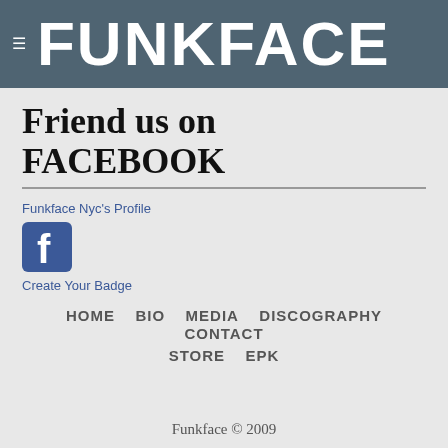FUNKFACE
Friend us on FACEBOOK
Funkface Nyc's Profile
[Figure (logo): Facebook logo icon — blue square with rounded corners and white 'f' letter]
Create Your Badge
HOME   BIO   MEDIA   DISCOGRAPHY   CONTACT   STORE   EPK
Funkface © 2009